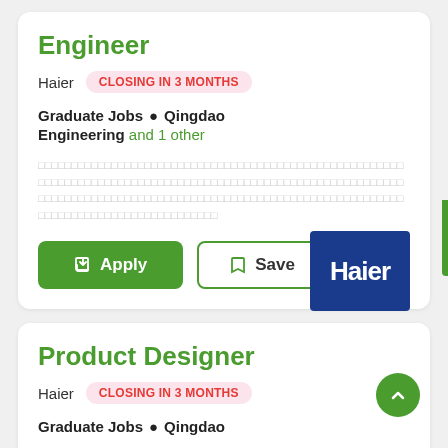Engineer
Haier   CLOSING IN 3 MONTHS
Graduate Jobs • Qingdao
Engineering and 1 other
[Chinese characters description text]
[Figure (logo): Haier logo on blue background]
Product Designer
Haier   CLOSING IN 3 MONTHS
Graduate Jobs • Qingdao